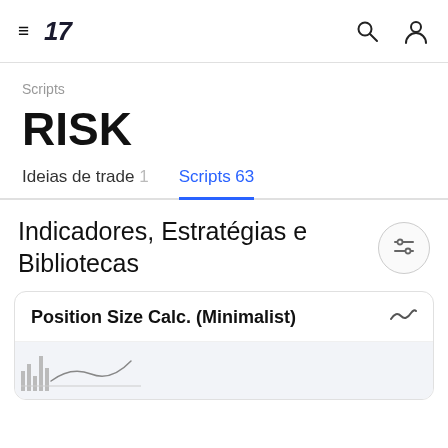≡ TradingView [search icon] [user icon]
Scripts
RISK
Ideias de trade 1  Scripts 63
Indicadores, Estratégias e Bibliotecas
Position Size Calc. (Minimalist)